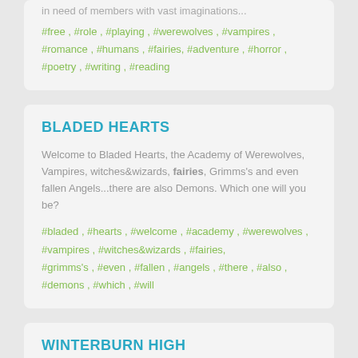in need of members with vast imaginations...
#free , #role , #playing , #werewolves , #vampires , #romance , #humans , #fairies, #adventure , #horror , #poetry , #writing , #reading
BLADED HEARTS
Welcome to Bladed Hearts, the Academy of Werewolves, Vampires, witches&wizards, fairies, Grimms's and even fallen Angels...there are also Demons. Which one will you be?
#bladed , #hearts , #welcome , #academy , #werewolves , #vampires , #witches&wizards , #fairies, #grimms's , #even , #fallen , #angels , #there , #also , #demons , #which , #will
WINTERBURN HIGH